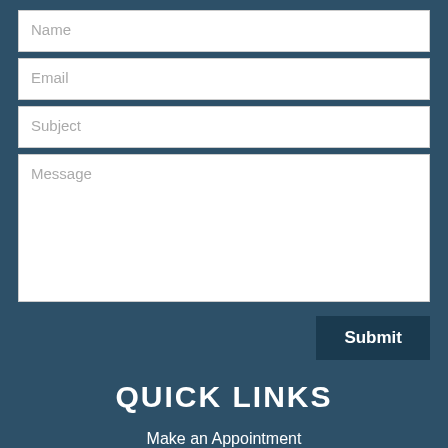Name
Email
Subject
Message
Submit
QUICK LINKS
Make an Appointment
Patient Portal
Medical History Form